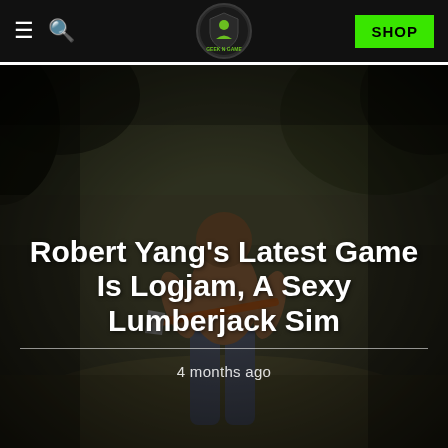≡  🔍  GEEK N GAME  SHOP
[Figure (photo): A shirtless video game character (3D rendered) holding an axe in a forest setting, used as a hero background image for a gaming news article.]
Robert Yang's Latest Game Is Logjam, A Sexy Lumberjack Sim
4 months ago